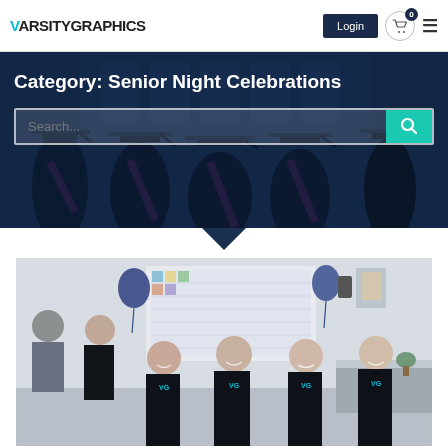VarsityGraphics — Login — Cart (0) — Menu
Category: Senior Night Celebrations
Search...
[Figure (photo): Group of young women in black dance/athletic wear posing together indoors, with balloons and a poster board visible in the background.]